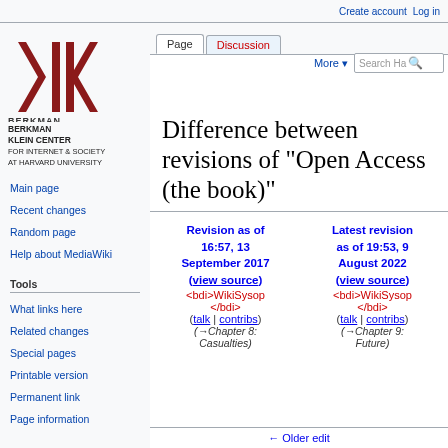Create account  Log in
[Figure (logo): Berkman Klein Center for Internet & Society at Harvard University logo — dark red chevron shapes with vertical bars]
Main page
Recent changes
Random page
Help about MediaWiki
Tools
What links here
Related changes
Special pages
Printable version
Permanent link
Page information
Difference between revisions of "Open Access (the book)"
Revision as of 16:57, 13 September 2017 (view source) <bdi>WikiSysop</bdi> (talk | contribs) (→Chapter 8: Casualties)
Latest revision as of 19:53, 9 August 2022 (view source) <bdi>WikiSysop</bdi> (talk | contribs) (→Chapter 9: Future)
← Older edit